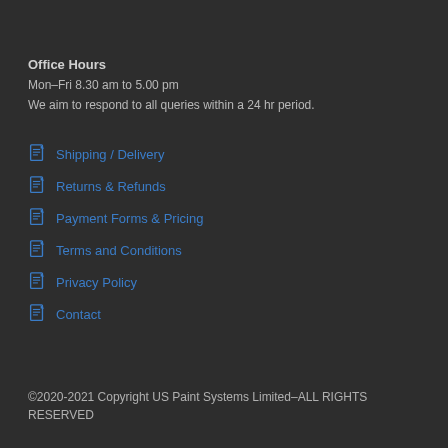Office Hours
Mon–Fri 8.30 am to 5.00 pm
We aim to respond to all queries within a 24 hr period.
Shipping / Delivery
Returns & Refunds
Payment Forms & Pricing
Terms and Conditions
Privacy Policy
Contact
©2020-2021 Copyright US Paint Systems Limited–ALL RIGHTS RESERVED